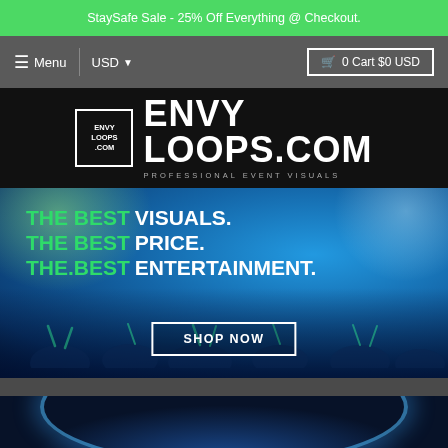StaySafe Sale - 25% Off Everything @ Checkout.
≡ Menu | USD ▾ | 🛒 0 Cart $0 USD
[Figure (logo): EnvyLoops.com logo with icon and text: ENVY LOOPS.COM — PROFESSIONAL EVENT VISUALS on black background]
[Figure (photo): Hero banner with blue concert crowd background. Text: THE BEST VISUALS. THE BEST PRICE. THE.BEST ENTERTAINMENT. with a SHOP NOW button.]
[Figure (photo): Partial bottom preview of a blue concert visual with glowing arc light effect]